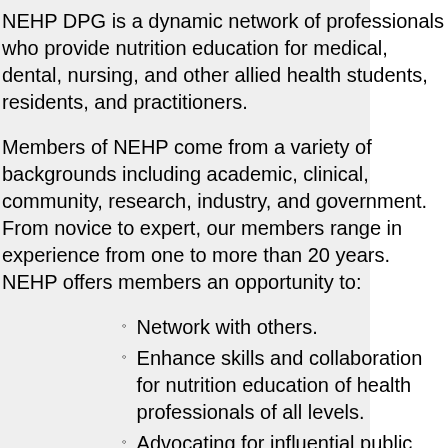NEHP DPG is a dynamic network of professionals who provide nutrition education for medical, dental, nursing, and other allied health students, residents, and practitioners.
Members of NEHP come from a variety of backgrounds including academic, clinical, community, research, industry, and government. From novice to expert, our members range in experience from one to more than 20 years. NEHP offers members an opportunity to:
Network with others.
Enhance skills and collaboration for nutrition education of health professionals of all levels.
Advocating for influential public policy